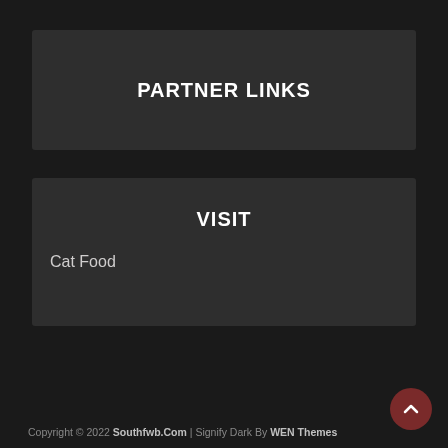PARTNER LINKS
VISIT
Cat Food
Copyright © 2022 Southfwb.Com | Signify Dark By WEN Themes